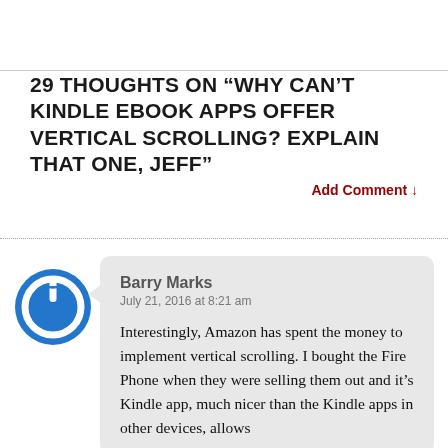29 THOUGHTS ON “WHY CAN’T KINDLE EBOOK APPS OFFER VERTICAL SCROLLING? EXPLAIN THAT ONE, JEFF”
Add Comment ↓
[Figure (illustration): Blue circular power button icon avatar for commenter Barry Marks]
Barry Marks
July 21, 2016 at 8:21 am

Interestingly, Amazon has spent the money to implement vertical scrolling. I bought the Fire Phone when they were selling them out and it’s Kindle app, much nicer than the Kindle apps in other devices, allows vertical scrolling. Not only that...